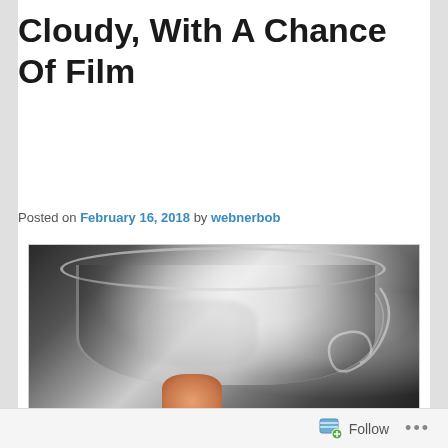Cloudy, With A Chance Of Film
Posted on February 16, 2018 by webnerbob
[Figure (photo): Close-up photo of a clear wine glass being held by a hand, showing cloudiness or film on the glass surface, with a decorative swirl etching on the right side of the glass.]
Follow ...